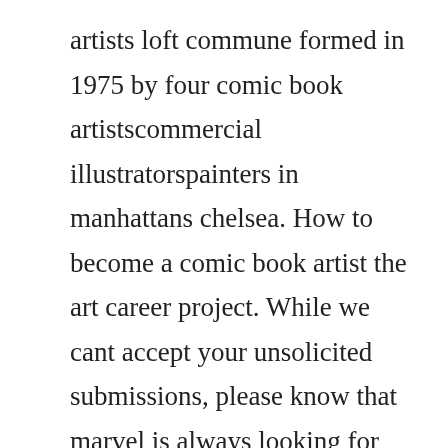artists loft commune formed in 1975 by four comic book artistscommercial illustratorspainters in manhattans chelsea. How to become a comic book artist the art career project. While we cant accept your unsolicited submissions, please know that marvel is always looking for new comic book artists and writers. Styles perfect for scifi, cartoons, kids, manga, and more are included. Accepting comic book artists submissions mad cave studios. Oct 12, 2019 in the short time that ive been doing illustrator reacts to good and bad comic book art ive gotten